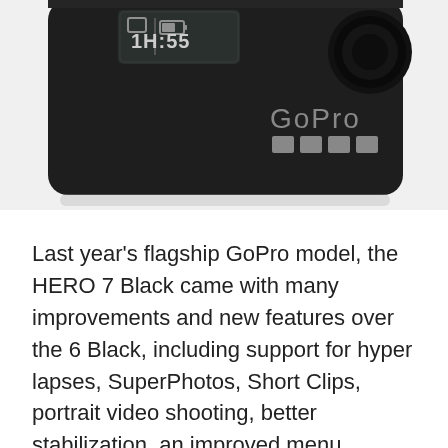[Figure (photo): Close-up of a GoPro HERO 7 Black camera body showing the front display screen reading '1H:55', battery icon, the GoPro logo text and four grey squares logo mark on the dark body. The camera is dark grey/black with rounded edges, and a lens visible at upper right.]
Last year's flagship GoPro model, the HERO 7 Black came with many improvements and new features over the 6 Black, including support for hyper lapses, SuperPhotos, Short Clips, portrait video shooting, better stabilization, an improved menu system and more support for HEVC video encoding.